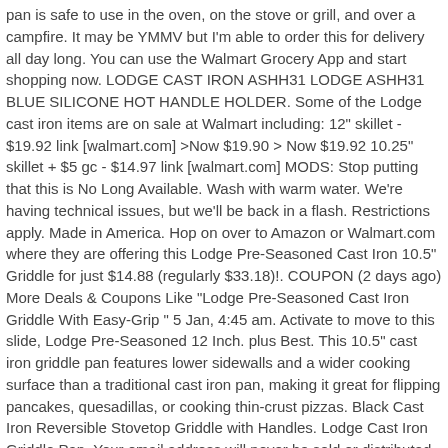pan is safe to use in the oven, on the stove or grill, and over a campfire. It may be YMMV but I'm able to order this for delivery all day long. You can use the Walmart Grocery App and start shopping now. LODGE CAST IRON ASHH31 LODGE ASHH31 BLUE SILICONE HOT HANDLE HOLDER. Some of the Lodge cast iron items are on sale at Walmart including: 12" skillet - $19.92 link [walmart.com] >Now $19.90 > Now $19.92 10.25" skillet + $5 gc - $14.97 link [walmart.com] MODS: Stop putting that this is No Long Available. Wash with warm water. We're having technical issues, but we'll be back in a flash. Restrictions apply. Made in America. Hop on over to Amazon or Walmart.com where they are offering this Lodge Pre-Seasoned Cast Iron 10.5" Griddle for just $14.88 (regularly $33.18)!. COUPON (2 days ago) More Deals & Coupons Like "Lodge Pre-Seasoned Cast Iron Griddle With Easy-Grip " 5 Jan, 4:45 am. Activate to move to this slide, Lodge Pre-Seasoned 12 Inch. plus Best. This 10.5" cast iron griddle pan features lower sidewalls and a wider cooking surface than a traditional cast iron pan, making it great for flipping pancakes, quesadillas, or cooking thin-crust pizzas. Black Cast Iron Reversible Stovetop Griddle with Handles. Lodge Cast Iron Griddle Pan. Your email address will never be sold or distributed to a third party for any reason. Score a 10.5-inch pre-seasoned griddle for only $14.88, regularly $25.50,